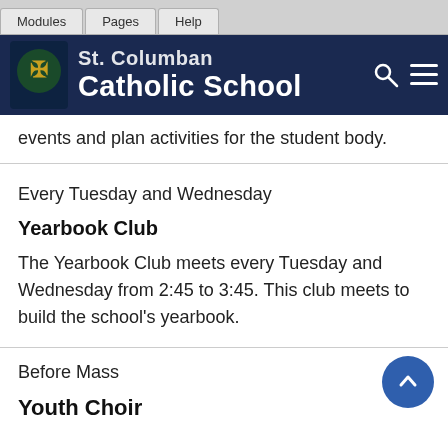Modules | Pages | Help
[Figure (screenshot): Catholic school website header banner with logo, school name 'Catholic School', search icon and menu icon on dark navy background]
events and plan activities for the student body.
Every Tuesday and Wednesday
Yearbook Club
The Yearbook Club meets every Tuesday and Wednesday from 2:45 to 3:45. This club meets to build the school's yearbook.
Before Mass
Youth Choir